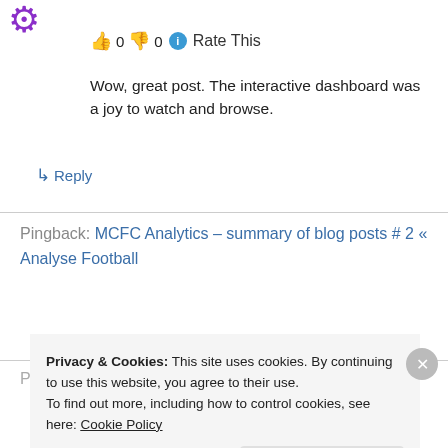[Figure (illustration): Purple avatar/user icon in top left corner]
👍 0 👎 0 ℹ Rate This
Wow, great post. The interactive dashboard was a joy to watch and browse.
↳ Reply
Pingback: MCFC Analytics – summary of blog posts # 2 « Analyse Football
Pingback: MCFC Analytics–Summary of blog posts #3 «
Privacy & Cookies: This site uses cookies. By continuing to use this website, you agree to their use.
To find out more, including how to control cookies, see here: Cookie Policy
Close and accept